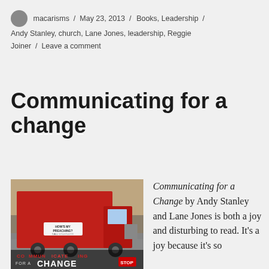macarisms / May 23, 2013 / Books, Leadership / Andy Stanley, church, Lane Jones, leadership, Reggie Joiner / Leave a comment
Communicating for a change
[Figure (photo): Book cover of 'Communicating for a Change' showing a red truck with a 'How's My Preaching?' bumper sticker, with text overlaid at the bottom reading 'COMMUNICATING FOR A CHANGE']
Communicating for a Change by Andy Stanley and Lane Jones is both a joy and disturbing to read. It's a joy because it's so